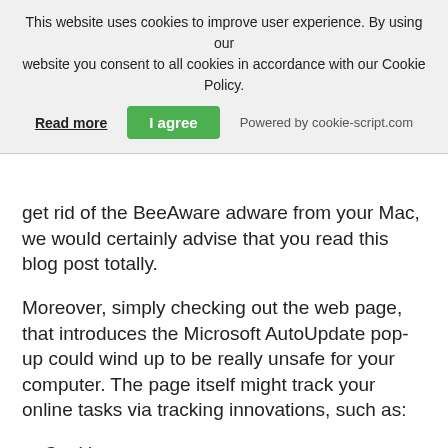This website uses cookies to improve user experience. By using our website you consent to all cookies in accordance with our Cookie Policy. Read more | I agree | Powered by cookie-script.com
get rid of the BeeAware adware from your Mac, we would certainly advise that you read this blog post totally.
Moreover, simply checking out the web page, that introduces the Microsoft AutoUpdate pop-up could wind up to be really unsafe for your computer. The page itself might track your online tasks via tracking innovations, such as:
Cookies.
Geo-locators.
Pixels
Tags
Geographical location.